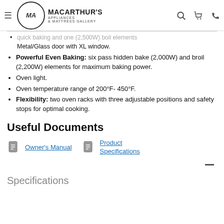MacArthur's Appliances & Mattress Gallery
quick baking and one (2,500W) boil elements Metal/Glass door with XL window.
Powerful Even Baking: six pass hidden bake (2,000W) and broil (2,200W) elements for maximum baking power.
Oven light.
Oven temperature range of 200°F- 450°F.
Flexibility: two oven racks with three adjustable positions and safety stops for optimal cooking.
Useful Documents
Owner's Manual | Product Specifications
Specifications